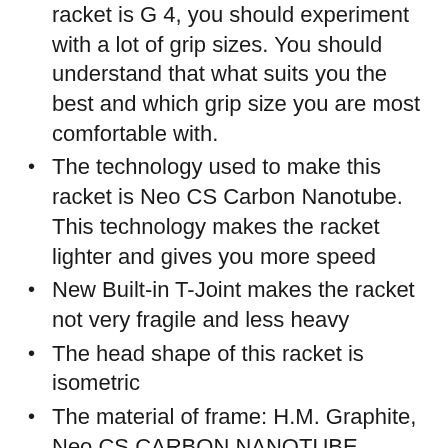racket is G 4, you should experiment with a lot of grip sizes. You should understand that what suits you the best and which grip size you are most comfortable with.
The technology used to make this racket is Neo CS Carbon Nanotube. This technology makes the racket lighter and gives you more speed
New Built-in T-Joint makes the racket not very fragile and less heavy
The head shape of this racket is isometric
The material of frame: H.M. Graphite, Neo CS CARBON NANOTUBE, SONIC METAL
The material of Shaft: H.M. Graphite, Ultra PEF